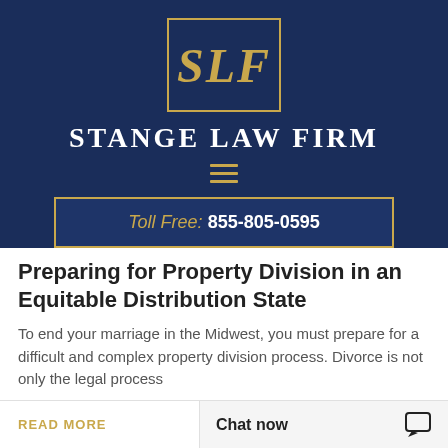[Figure (logo): Stange Law Firm logo: gold italic 'SLF' letters inside a gold rectangle border on navy background]
STANGE LAW FIRM
[Figure (other): Hamburger menu icon with three gold horizontal lines]
Toll Free: 855-805-0595
Preparing for Property Division in an Equitable Distribution State
To end your marriage in the Midwest, you must prepare for a difficult and complex property division process. Divorce is not only the legal process
READ MORE
Chat now